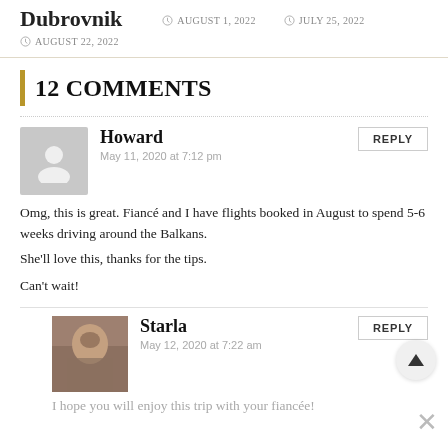Dubrovnik
AUGUST 1, 2022   JULY 25, 2022   AUGUST 22, 2022
12 COMMENTS
Howard
May 11, 2020 at 7:12 pm
Omg, this is great. Fiancé and I have flights booked in August to spend 5-6 weeks driving around the Balkans.
She'll love this, thanks for the tips.

Can't wait!
Starla
May 12, 2020 at 7:22 am
I hope you will enjoy this trip with your fiancée!